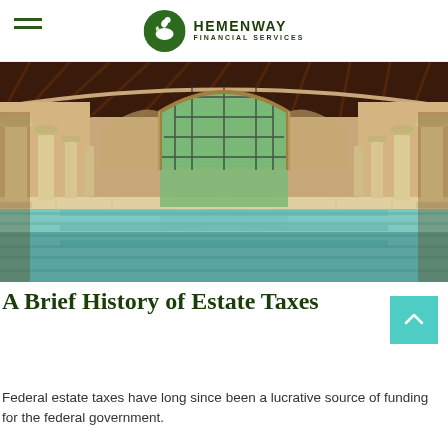HEMENWAY FINANCIAL SERVICES
[Figure (photo): Interior of a luxury indoor swimming pool with arched ceilings, decorative columns, and a large arched window at the far end bringing in natural light. The pool has turquoise water and a tiled surround.]
A Brief History of Estate Taxes
Federal estate taxes have long since been a lucrative source of funding for the federal government.